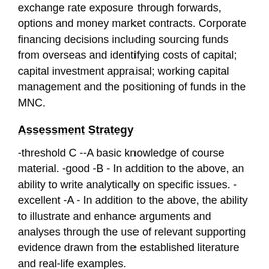exchange rate exposure through forwards, options and money market contracts. Corporate financing decisions including sourcing funds from overseas and identifying costs of capital; capital investment appraisal; working capital management and the positioning of funds in the MNC.
Assessment Strategy
-threshold C --A basic knowledge of course material. -good -B - In addition to the above, an ability to write analytically on specific issues. -excellent -A - In addition to the above, the ability to illustrate and enhance arguments and analyses through the use of relevant supporting evidence drawn from the established literature and real-life examples.